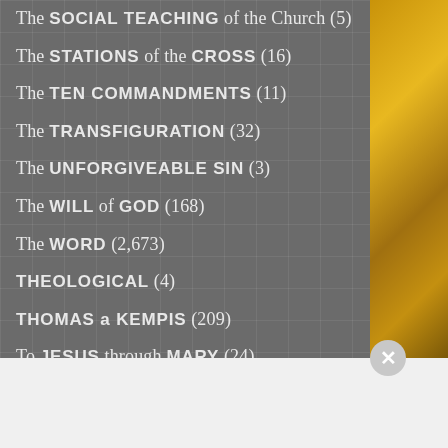The SOCIAL TEACHING of the Church (5)
The STATIONS of the CROSS (16)
The TEN COMMANDMENTS (11)
The TRANSFIGURATION (32)
The UNFORGIVEABLE SIN (3)
The WILL of GOD (168)
The WORD (2,673)
THEOLOGICAL (4)
THOMAS a KEMPIS (209)
To JESUS through MARY (24)
TOTAL Consecration to JESUS through MARY (35)
Advertisements
[Figure (photo): MAC Cosmetics advertisement banner with lipsticks and SHOP NOW call to action]